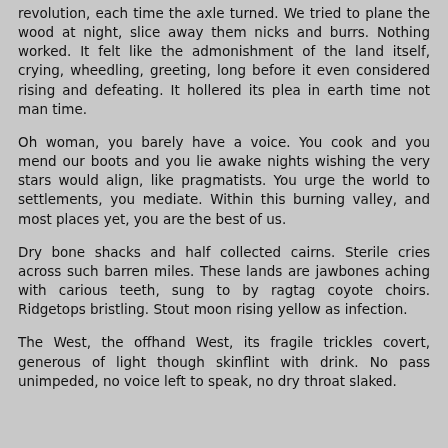revolution, each time the axle turned. We tried to plane the wood at night, slice away them nicks and burrs. Nothing worked. It felt like the admonishment of the land itself, crying, wheedling, greeting, long before it even considered rising and defeating. It hollered its plea in earth time not man time.
Oh woman, you barely have a voice. You cook and you mend our boots and you lie awake nights wishing the very stars would align, like pragmatists. You urge the world to settlements, you mediate. Within this burning valley, and most places yet, you are the best of us.
Dry bone shacks and half collected cairns. Sterile cries across such barren miles. These lands are jawbones aching with carious teeth, sung to by ragtag coyote choirs. Ridgetops bristling. Stout moon rising yellow as infection.
The West, the offhand West, its fragile trickles covert, generous of light though skinflint with drink. No pass unimpeded, no voice left to speak, no dry throat slaked.